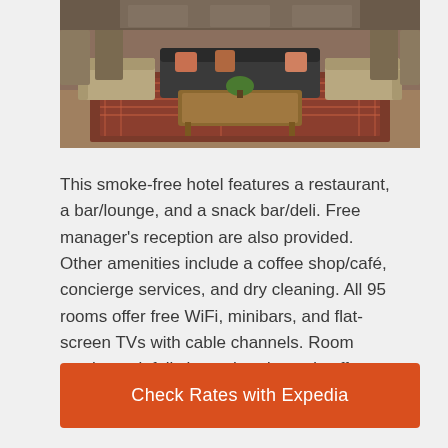[Figure (photo): Interior photo of a hotel lounge/lobby showing sofas, armchairs, a coffee table, ornate rugs, and warm lighting.]
This smoke-free hotel features a restaurant, a bar/lounge, and a snack bar/deli. Free manager's reception are also provided. Other amenities include a coffee shop/café, concierge services, and dry cleaning. All 95 rooms offer free WiFi, minibars, and flat-screen TVs with cable channels. Room service, rainfall showerheads, and coffee makers.
Check Rates with Expedia